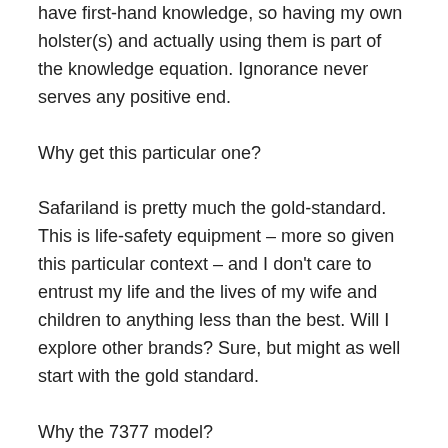have first-hand knowledge, so having my own holster(s) and actually using them is part of the knowledge equation. Ignorance never serves any positive end.
Why get this particular one?
Safariland is pretty much the gold-standard. This is life-safety equipment – more so given this particular context – and I don't care to entrust my life and the lives of my wife and children to anything less than the best. Will I explore other brands? Sure, but might as well start with the gold standard.
Why the 7377 model?
First, I didn't want any true duty holster. Why? I'm not a cop. But more simply, the duty holsters tend to be